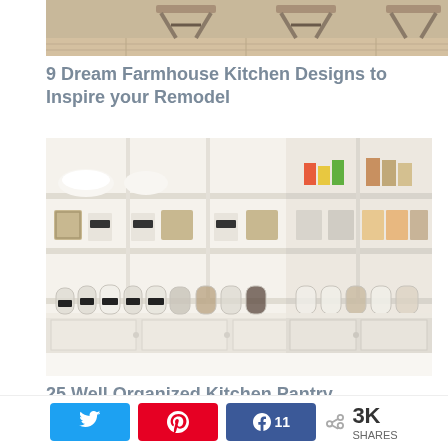[Figure (photo): Partial top view of farmhouse kitchen with wooden X-frame bar stools and hardwood floor]
9 Dream Farmhouse Kitchen Designs to Inspire your Remodel
[Figure (photo): Well organized walk-in kitchen pantry with white open shelving cubicles filled with labeled glass jars, baskets, and food items arranged neatly on counter and shelves]
25 Well Organized Kitchen Pantry
Twitter Pin Facebook 11 3K SHARES